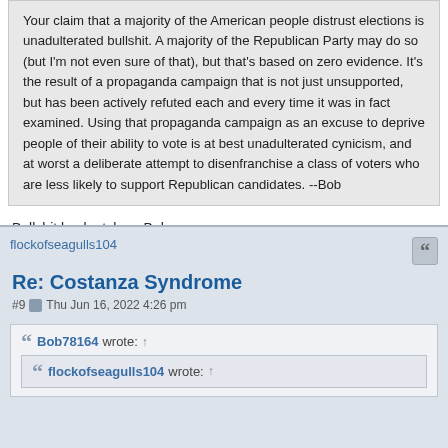Your claim that a majority of the American people distrust elections is unadulterated bullshit. A majority of the Republican Party may do so (but I'm not even sure of that), but that's based on zero evidence. It's the result of a propaganda campaign that is not just unsupported, but has been actively refuted each and every time it was in fact examined. Using that propaganda campaign as an excuse to deprive people of their ability to vote is at best unadulterated cynicism, and at worst a deliberate attempt to disenfranchise a class of voters who are less likely to support Republican candidates. --Bob
Bullshit back atchya, Bob
Well, then
flockofseagulls104
Re: Costanza Syndrome
#9  Thu Jun 16, 2022 4:26 pm
Bob78164 wrote: ↑
flockofseagulls104 wrote: ↑